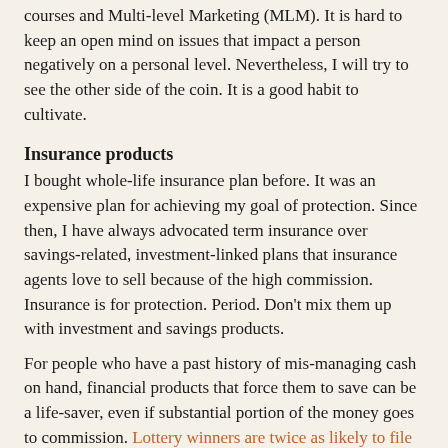courses and Multi-level Marketing (MLM). It is hard to keep an open mind on issues that impact a person negatively on a personal level. Nevertheless, I will try to see the other side of the coin. It is a good habit to cultivate.
Insurance products
I bought whole-life insurance plan before. It was an expensive plan for achieving my goal of protection. Since then, I have always advocated term insurance over savings-related, investment-linked plans that insurance agents love to sell because of the high commission. Insurance is for protection. Period. Don't mix them up with investment and savings products.
For people who have a past history of mis-managing cash on hand, financial products that force them to save can be a life-saver, even if substantial portion of the money goes to commission. Lottery winners are twice as likely to file for bankruptcy every year than the general population. So, if your spouse happen to strike Toto and you know him/her to be one of those who cannot manage money, it is better that he spends most of his winnings on financial products peddled by insurance agents than go on a spending spree, gamble it away in the financial markets, invest in speculative